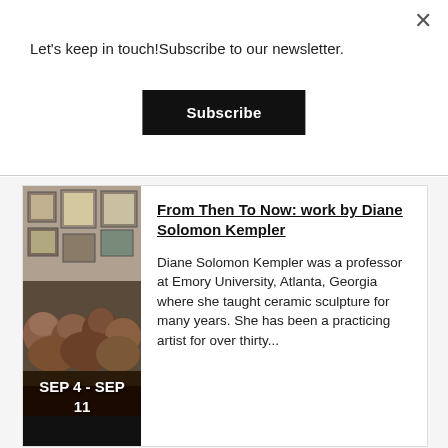Let's keep in touch!Subscribe to our newsletter.
Subscribe
[Figure (photo): Photo of ceramic sculpture artwork displayed in a gallery or studio setting, with various artworks visible on walls in the background. Date overlay reads SEP 4 - SEP 11.]
From Then To Now: work by Diane Solomon Kempler
Diane Solomon Kempler was a professor at Emory University, Atlanta, Georgia where she taught ceramic sculpture for many years. She has been a practicing artist for over thirty...